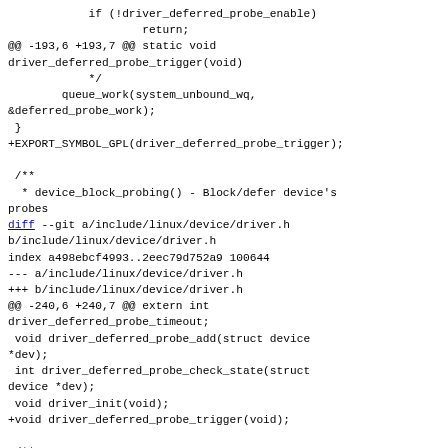if (!driver_deferred_probe_enable)
                    return;
 @@ -193,6 +193,7 @@ static void driver_deferred_probe_trigger(void)
             */
         queue_work(system_unbound_wq, &deferred_probe_work);
  }
 +EXPORT_SYMBOL_GPL(driver_deferred_probe_trigger);

  /**
   * device_block_probing() - Block/defer device's probes
 diff --git a/include/linux/device/driver.h b/include/linux/device/driver.h
 index a498ebcf4993..2eec79d752a9 100644
 --- a/include/linux/device/driver.h
 +++ b/include/linux/device/driver.h
 @@ -240,6 +240,7 @@ extern int driver_deferred_probe_timeout;
  void driver_deferred_probe_add(struct device *dev);
  int driver_deferred_probe_check_state(struct device *dev);
  void driver_init(void);
 +void driver_deferred_probe_trigger(void);

  /**
   * module_driver() - Helper macro for drivers that don't do anything